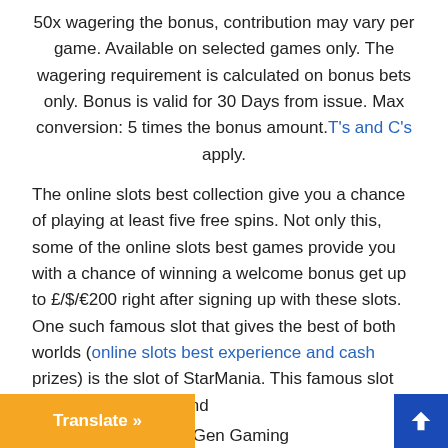50x wagering the bonus, contribution may vary per game. Available on selected games only. The wagering requirement is calculated on bonus bets only. Bonus is valid for 30 Days from issue. Max conversion: 5 times the bonus amount. T's and C's apply.
The online slots best collection give you a chance of playing at least five free spins. Not only this, some of the online slots best games provide you with a chance of winning a welcome bonus get up to £/$/ €200 right after signing up with these slots. One such famous slot that gives the best of both worlds (online slots best experience and cash prizes) is the slot of StarMania. This famous slot has been designed and he one and only NextGen Gaming